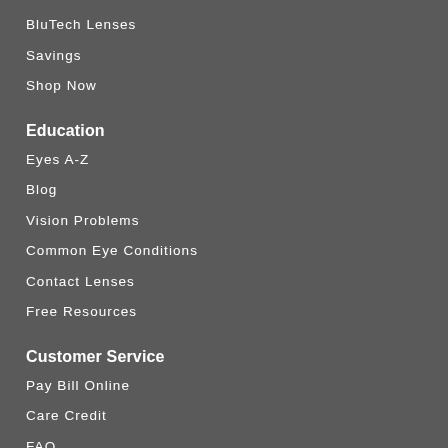BluTech Lenses
Savings
Shop Now
Education
Eyes A-Z
Blog
Vision Problems
Common Eye Conditions
Contact Lenses
Free Resources
Customer Service
Pay Bill Online
Care Credit
FAQ
Online Orders
Terms & Conditions
Contact Us